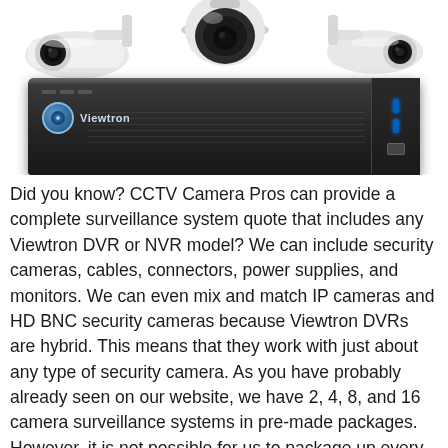[Figure (photo): Three white security cameras (bullet and dome types) arranged in a row at top, above a Viewtron brand black DVR/NVR unit with blue LED indicators on the right side.]
Did you know? CCTV Camera Pros can provide a complete surveillance system quote that includes any Viewtron DVR or NVR model? We can include security cameras, cables, connectors, power supplies, and monitors. We can even mix and match IP cameras and HD BNC security cameras because Viewtron DVRs are hybrid. This means that they work with just about any type of security camera. As you have probably already seen on our website, we have 2, 4, 8, and 16 camera surveillance systems in pre-made packages. However, it is not possible for us to package up every combination and quantity of all the different camera models that we carry. So, we can also provide you with a custom quote with as many cameras as you need and a mix of any combination of camera